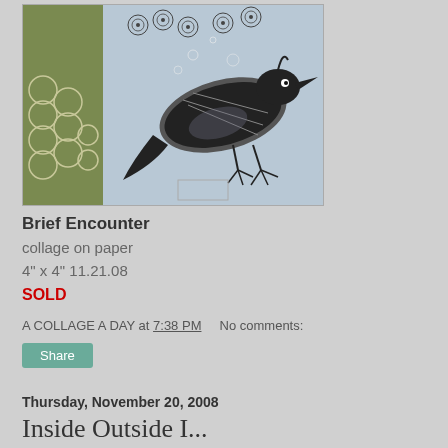[Figure (illustration): Collage artwork on paper showing a bird (black ink drawing) on a blue/grey background with circular decorative patterns on the left (olive green with white circles) and scattered circular motifs. The bird appears to be a jay or similar species depicted in a jumping/flying pose.]
Brief Encounter
collage on paper
4" x 4" 11.21.08
SOLD
A COLLAGE A DAY at 7:38 PM    No comments:
Share
Thursday, November 20, 2008
Inside Outside I...